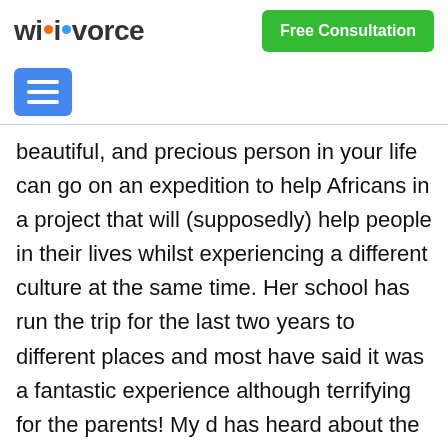wikivorce | Free Consultation
beautiful, and precious person in your life can go on an expedition to help Africans in a project that will (supposedly) help people in their lives whilst experiencing a different culture at the same time. Her school has run the trip for the last two years to different places and most have said it was a fantastic experience although terrifying for the parents! My d has heard about the trips and has been talking about it for years. She desperately wants to go and I can see if all